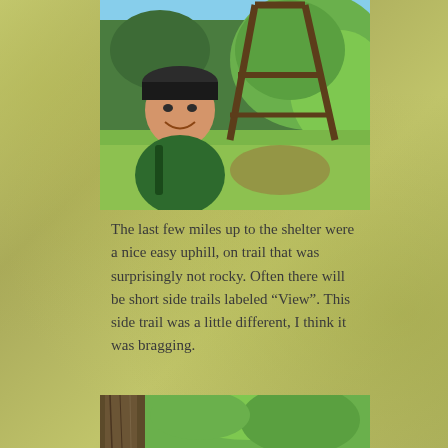[Figure (photo): A smiling man wearing a dark cap and green shirt with a backpack, standing next to a large A-frame wooden trail sign structure. Green trees and grass in the background on a sunny day.]
The last few miles up to the shelter were a nice easy uphill, on trail that was surprisingly not rocky. Often there will be short side trails labeled “View”. This side trail was a little different, I think it was bragging.
[Figure (photo): Bottom portion of a photo showing tree bark and green forest foliage, partially cropped at the bottom of the page.]